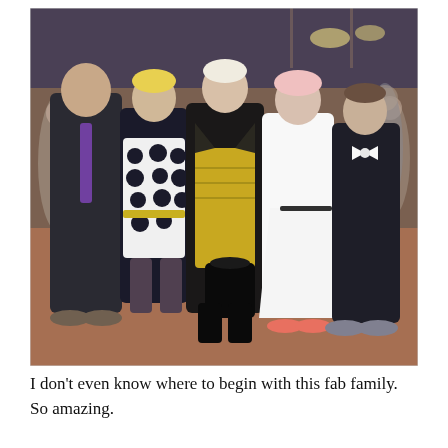[Figure (photo): A group of five people posing together indoors. From left to right: a man in a dark suit with a purple tie, a woman with short blonde hair wearing a black and white polka dot dress with a yellow belt, a woman with short platinum blonde hair wearing a yellow dress and black leather jacket holding a large black handbag, a woman with light pink/blonde hair wearing a white dress with coral heels, and a teenage boy in a dark suit with a bow tie. The background shows an indoor venue with brick floors and overhead lights.]
I don't even know where to begin with this fab family. So amazing.